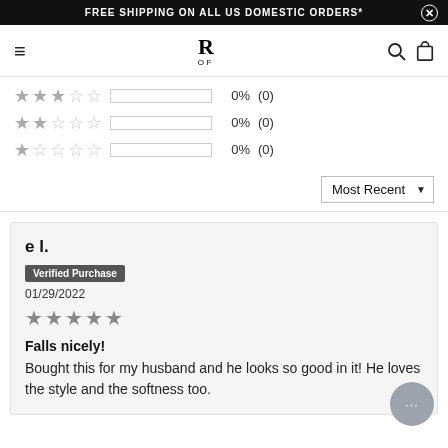FREE SHIPPING ON ALL US DOMESTIC ORDERS*
[Figure (logo): R OF logo in center, hamburger menu left, search and bag icons right]
3 stars: 0% (0)
2 stars: 0% (0)
1 star: 0% (0)
Most Recent (dropdown)
e l.
Verified Purchase
01/29/2022
5 stars
Falls nicely! Bought this for my husband and he looks so good in it! He loves the style and the softness too.